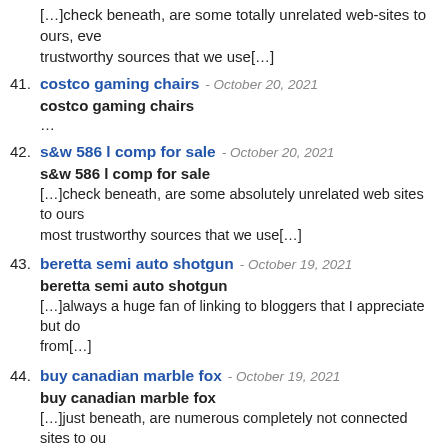[…]check beneath, are some totally unrelated web-sites to ours, eve trustworthy sources that we use[…]
41. costco gaming chairs - October 20, 2021
costco gaming chairs
…
42. s&w 586 l comp for sale - October 20, 2021
s&w 586 l comp for sale
[…]check beneath, are some absolutely unrelated web sites to ours most trustworthy sources that we use[…]
43. beretta semi auto shotgun - October 19, 2021
beretta semi auto shotgun
[…]always a huge fan of linking to bloggers that I appreciate but do from[…]
44. buy canadian marble fox - October 19, 2021
buy canadian marble fox
[…]just beneath, are numerous completely not connected sites to ou be certainly really worth going over[…]